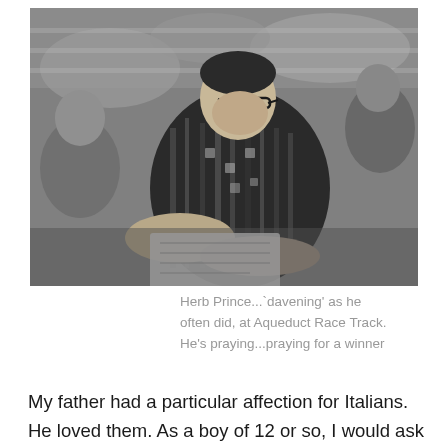[Figure (photo): Black and white photograph of Herb Prince, a man wearing glasses and a patterned shirt, leaning forward and looking down at something in his hands, surrounded by other people, apparently at Aqueduct Race Track.]
Herb Prince...`davening' as he often did, at Aqueduct Race Track. He's praying...praying for a winner
My father had a particular affection for Italians. He loved them. As a boy of 12 or so, I would ask him why but he